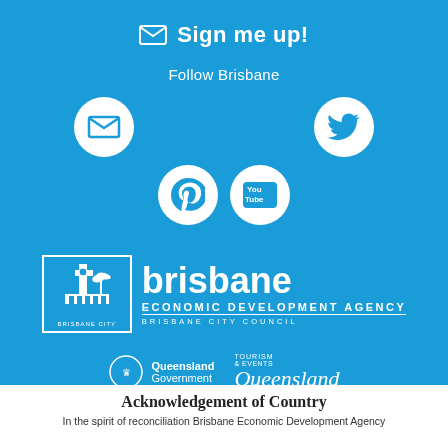Sign me up!
Follow Brisbane
[Figure (logo): Social media icons: email/envelope, Twitter bird, Pinterest P, YouTube logo — white circles on blue background]
[Figure (logo): Brisbane Economic Development Agency logo — white building icon in white-bordered box labeled BRISBANE CITY, alongside 'brisbane ECONOMIC DEVELOPMENT AGENCY BRISBANE CITY COUNCIL' in white text]
[Figure (logo): Queensland Government logo and Tourism & Events Queensland logo side by side in white]
Acknowledgement of Country
In the spirit of reconciliation Brisbane Economic Development Agency